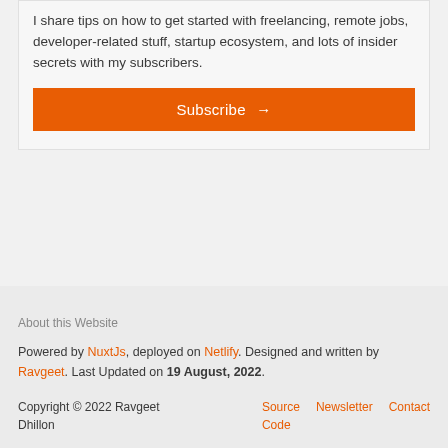I share tips on how to get started with freelancing, remote jobs, developer-related stuff, startup ecosystem, and lots of insider secrets with my subscribers.
Subscribe →
About this Website
Powered by NuxtJs, deployed on Netlify. Designed and written by Ravgeet. Last Updated on 19 August, 2022.
Copyright © 2022 Ravgeet Dhillon   Source Code   Newsletter   Contact